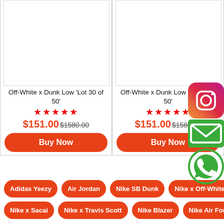[Figure (photo): Product image placeholder white box for Off-White x Dunk Low Lot 30 of 50]
Off-White x Dunk Low 'Lot 30 of 50'
★★★★★
$151.00 $1580.00
Buy Now
[Figure (photo): Product image placeholder white box for Off-White x Dunk Low Lot 20 of 50]
Off-White x Dunk Low 'Lot 20 of 50'
★★★★★
$151.00 $1580.00
Buy Now
Adidas Yeezy
Air Jordan
Nike SB Dunk
Nike x Off-White
Nike x Sacai
Nike x Travis Scott
Nike Blazer
Nike Air Force